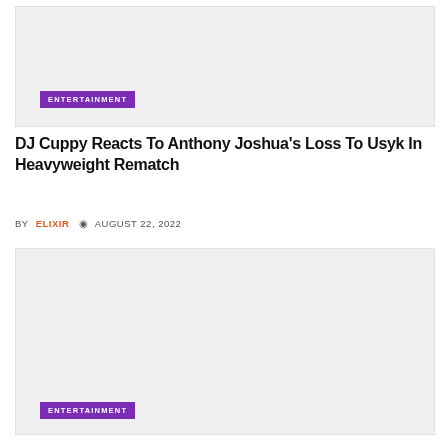[Figure (photo): Top image placeholder — light gray rectangle]
ENTERTAINMENT
DJ Cuppy Reacts To Anthony Joshua's Loss To Usyk In Heavyweight Rematch
BY ELIXIR  AUGUST 22, 2022
[Figure (photo): Bottom image placeholder — light gray rectangle]
ENTERTAINMENT